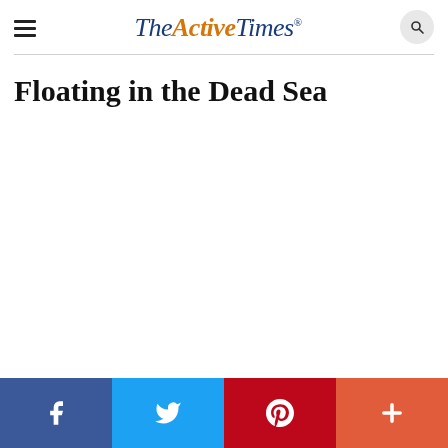TheActiveTimes
Floating in the Dead Sea
Facebook, Twitter, Pinterest, More social share buttons